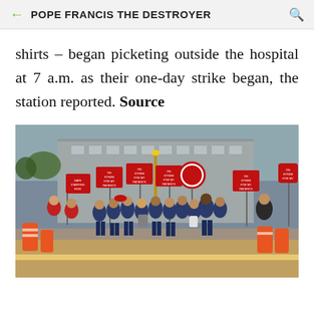POPE FRANCIS THE DESTROYER
shirts – began picketing outside the hospital at 7 a.m. as their one-day strike began, the station reported. Source
[Figure (photo): A crowd of nurses and workers in blue scrubs and red shirts picketing outside a hospital, holding red and white signs that read 'ON STRIKE FOR MY PATIENTS' and 'SAFE STAFFING NOW', with orange construction barrels visible in the foreground.]